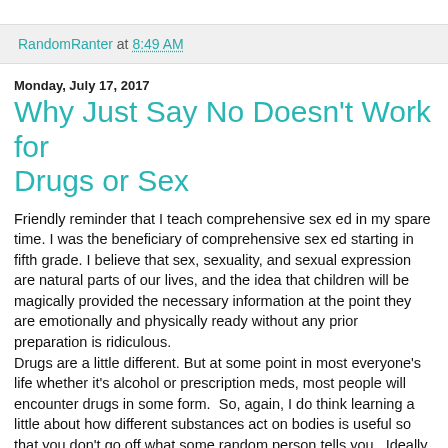RandomRanter at 8:49 AM
Monday, July 17, 2017
Why Just Say No Doesn't Work for Drugs or Sex
Friendly reminder that I teach comprehensive sex ed in my spare time. I was the beneficiary of comprehensive sex ed starting in fifth grade. I believe that sex, sexuality, and sexual expression are natural parts of our lives, and the idea that children will be magically provided the necessary information at the point they are emotionally and physically ready without any prior preparation is ridiculous.
Drugs are a little different. But at some point in most everyone's life whether it's alcohol or prescription meds, most people will encounter drugs in some form.  So, again, I do think learning a little about how different substances act on bodies is useful so that you don't go off what some random person tells you.  Ideally this would…just as